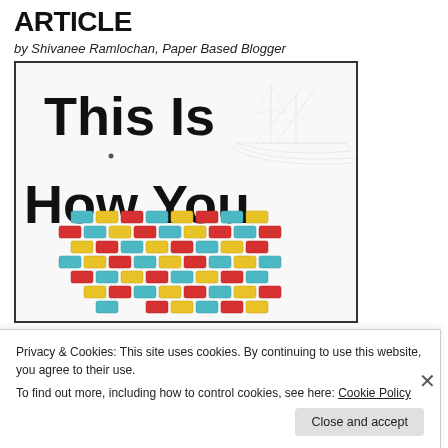ARTICLE
by Shivanee Ramlochan, Paper Based Blogger
[Figure (photo): Book cover showing 'This Is How You' text in large black font, with colorful lego-style brick pattern overlaid, and a faint ship sketch in background]
Privacy & Cookies: This site uses cookies. By continuing to use this website, you agree to their use.
To find out more, including how to control cookies, see here: Cookie Policy